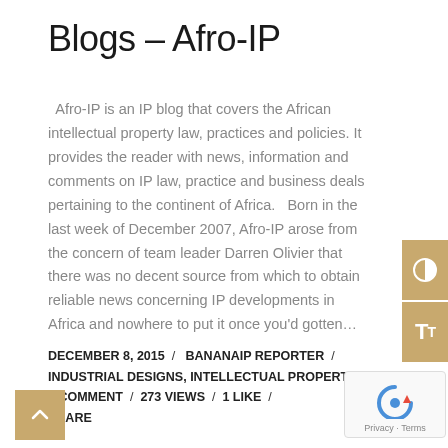Blogs – Afro-IP
Afro-IP is an IP blog that covers the African intellectual property law, practices and policies. It provides the reader with news, information and comments on IP law, practice and business deals pertaining to the continent of Africa.   Born in the last week of December 2007, Afro-IP arose from the concern of team leader Darren Olivier that there was no decent source from which to obtain reliable news concerning IP developments in Africa and nowhere to put it once you'd gotten…
DECEMBER 8, 2015  /  BANANAIP REPORTER  /  INDUSTRIAL DESIGNS, INTELLECTUAL PROPERTY  /  0 COMMENT  /  273 VIEWS  /  1 LIKE  /  SHARE